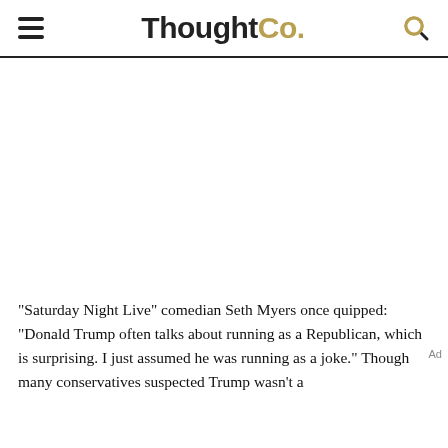ThoughtCo.
[Figure (other): Advertisement/empty white space block]
"Saturday Night Live" comedian Seth Myers once quipped: “Donald Trump often talks about running as a Republican, which is surprising. I just assumed he was running as a joke.” Though many conservatives suspected Trump wasn’t a